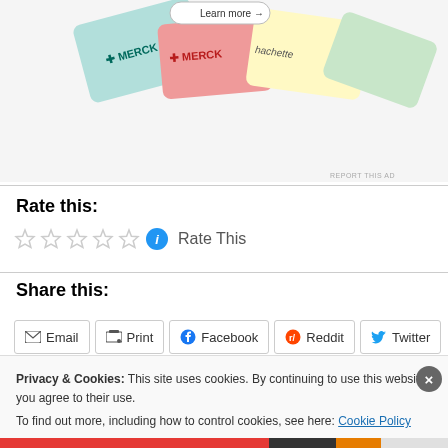[Figure (photo): Advertisement image showing Merck and Hachette branded cards/items with a 'Learn more' button overlay. REPORT THIS AD text at bottom right.]
Rate this:
[Figure (other): Five empty star rating icons followed by a blue info circle icon and 'Rate This' text]
Share this:
[Figure (other): Row of share buttons: Email, Print, Facebook, Reddit, Twitter]
Privacy & Cookies: This site uses cookies. By continuing to use this website, you agree to their use.
To find out more, including how to control cookies, see here: Cookie Policy